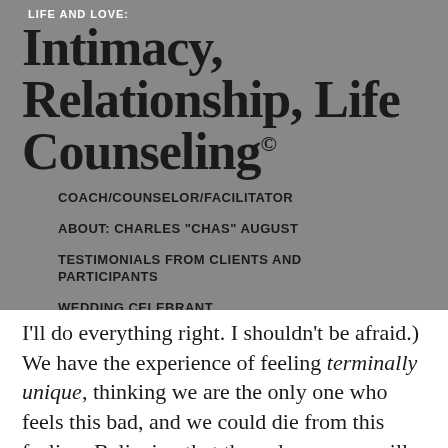LIFE AND LOVE:
Intimacy, Relationship, Life Counseling
COACH/COUNSELOR/FACILITATOR
ABOUT: CHARLES “CHAS” AUGUST
TESTIMONIALS FROM CLIENTS AND PARTICIPANTS
WEDDING CELEBRANT
I’ll do everything right.  I shouldn’t be afraid.)  We have the experience of feeling terminally unique, thinking we are the only one who feels this bad, and we could die from this feeling. Believing that the only way we will ever have our needs met is to hide this flaw, we become